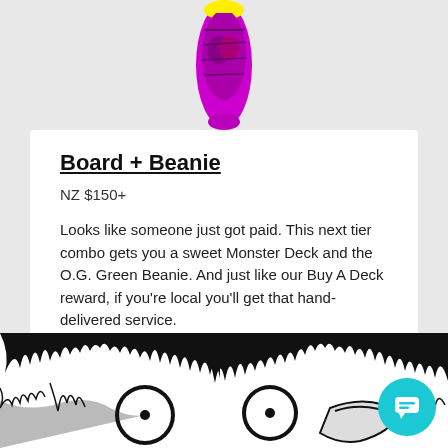[Figure (illustration): Partial view of a colorful skateboard deck with magenta/purple and yellow colors, shown against a light gray background]
Board + Beanie
NZ $150+
Looks like someone just got paid. This next tier combo gets you a sweet Monster Deck and the O.G. Green Beanie. And just like our Buy A Deck reward, if you're local you'll get that hand-delivered service.
6 left
[Figure (illustration): Black and white illustration of a monster or creature face with large round eyes, shown cropped at bottom of page]